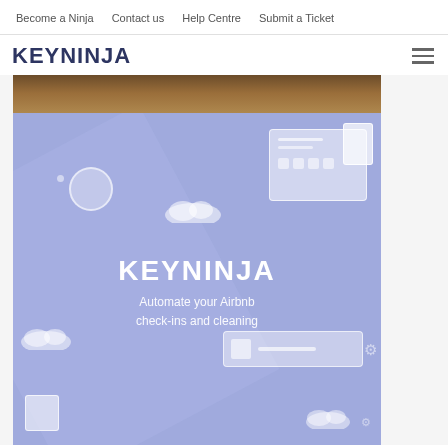Become a Ninja   Contact us   Help Centre   Submit a Ticket
[Figure (logo): KEYNINJA logo in dark blue bold text]
[Figure (screenshot): Website screenshot showing KEYNINJA branding on a blue/purple illustrated background with text 'KEYNINJA' and 'Automate your Airbnb check-ins and cleaning', with decorative UI mockup elements and cloud icons on a light purple background, topped by a wood floor image strip]